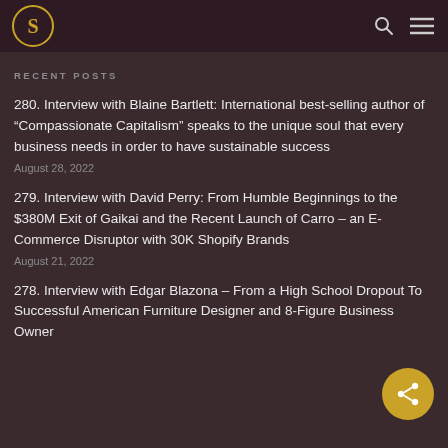S (logo) | search | menu
RECENT POSTS
280. Interview with Blaine Bartlett: International best-selling author of “Compassionate Capitalism” speaks to the unique soul that every business needs in order to have sustainable success
August 28, 2022
279. Interview with David Perry: From Humble Beginnings to the $380M Exit of Gaikai and the Recent Launch of Carro – an E-Commerce Disruptor with 30K Shopify Brands
August 21, 2022
278. Interview with Edgar Blazona – From a High School Dropout To Successful American Furniture Designer and 8-Figure Business Owner